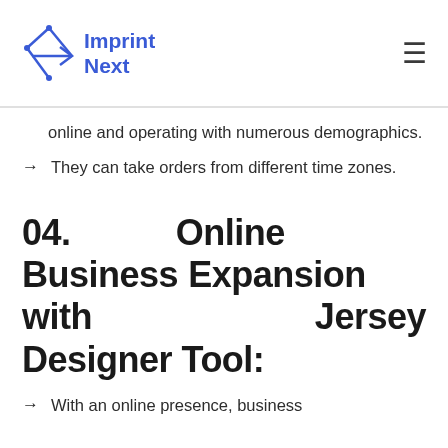Imprint Next
online and operating with numerous demographics.
They can take orders from different time zones.
04. Online Business Expansion with Jersey Designer Tool:
With an online presence, business